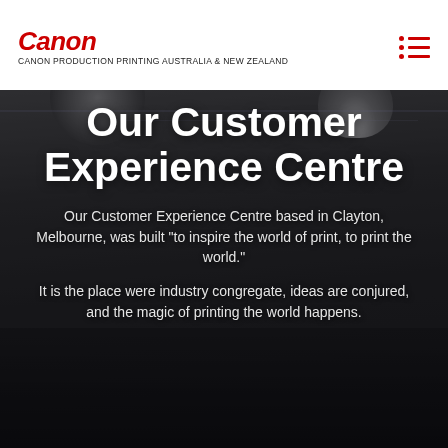Canon | CANON PRODUCTION PRINTING AUSTRALIA & NEW ZEALAND
[Figure (photo): Interior of Canon Customer Experience Centre in Clayton, Melbourne, showing people gathered in a modern office/showroom setting with hanging lamps and display equipment. Photo serves as hero background.]
Our Customer Experience Centre
Our Customer Experience Centre based in Clayton, Melbourne, was built "to inspire the world of print, to print the world."
It is the place were industry congregate, ideas are conjured, and the magic of printing the world happens.